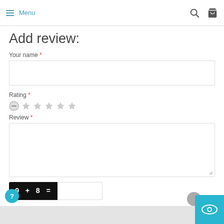Menu
Add review:
Your name *
Rating *
Review *
[Figure (screenshot): CAPTCHA math challenge showing '9 + 8 =' in white text on black background, with an empty white input box next to it]
Submit review